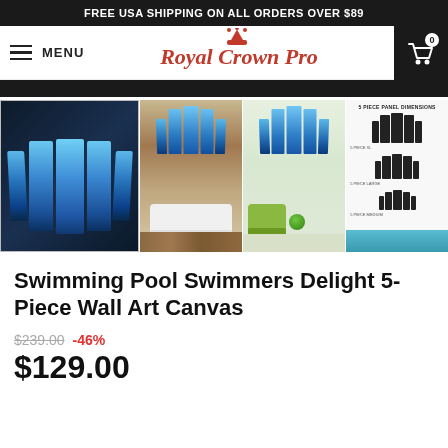FREE USA SHIPPING ON ALL ORDERS OVER $89
[Figure (screenshot): Royal Crown Pro website navigation bar with hamburger menu, logo, and cart icon showing 0 items]
[Figure (photo): Product images showing Swimming Pool Swimmers Delight 5-Piece Wall Art Canvas in 4 views: product on dark background, in a living room with wood floors, in a modern room with green chair, and a size dimension chart]
Swimming Pool Swimmers Delight 5-Piece Wall Art Canvas
$239.00  -46%  $129.00